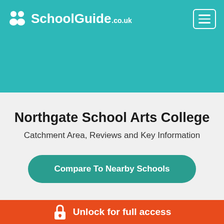SchoolGuide.co.uk
Northgate School Arts College
Catchment Area, Reviews and Key Information
Compare To Nearby Schools
Unlock for full access